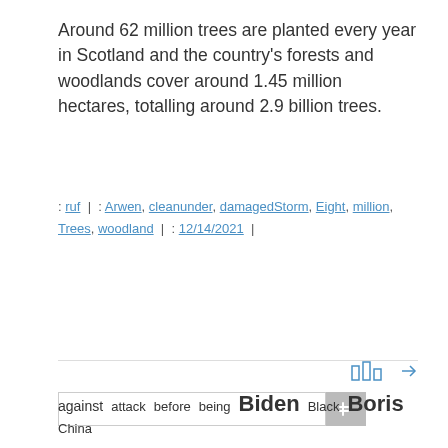Around 62 million trees are planted every year in Scotland and the country's forests and woodlands cover around 1.45 million hectares, totalling around 2.9 billion trees.
: ruf |  : Arwen, cleanunder, damagedStorm, Eight, million, Trees, woodland |  : 12/14/2021 |
[Figure (other): Navigation icons and arrow (bar chart icon and right arrow)]
[Figure (other): Search input box with search button]
□□
against attack before being Biden Black Boris China